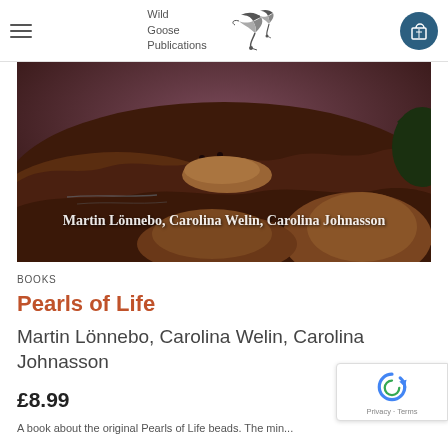Wild Goose Publications
[Figure (photo): Aerial/landscape photo of rocky volcanic terrain at dusk with two people sitting on large boulders; text overlay reads 'Martin Lönnebo, Carolina Welin, Carolina Johnasson']
BOOKS
Pearls of Life
Martin Lönnebo, Carolina Welin, Carolina Johnasson
£8.99
A book about the original Pearls of Life beads. The min...